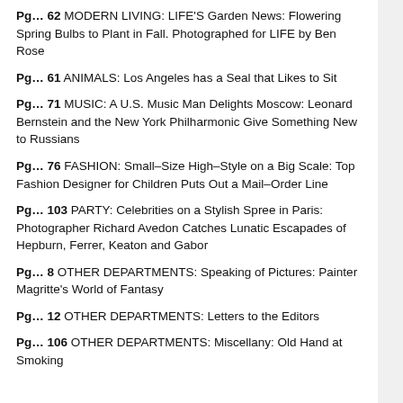Pg… 62 MODERN LIVING: LIFE'S Garden News: Flowering Spring Bulbs to Plant in Fall. Photographed for LIFE by Ben Rose
Pg… 61 ANIMALS: Los Angeles has a Seal that Likes to Sit
Pg… 71 MUSIC: A U.S. Music Man Delights Moscow: Leonard Bernstein and the New York Philharmonic Give Something New to Russians
Pg… 76 FASHION: Small–Size High–Style on a Big Scale: Top Fashion Designer for Children Puts Out a Mail–Order Line
Pg… 103 PARTY: Celebrities on a Stylish Spree in Paris: Photographer Richard Avedon Catches Lunatic Escapades of Hepburn, Ferrer, Keaton and Gabor
Pg… 8 OTHER DEPARTMENTS: Speaking of Pictures: Painter Magritte's World of Fantasy
Pg… 12 OTHER DEPARTMENTS: Letters to the Editors
Pg… 106 OTHER DEPARTMENTS: Miscellany: Old Hand at Smoking